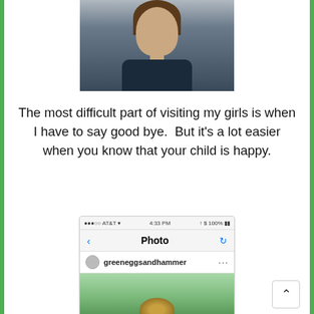[Figure (photo): Partial photo of a woman with long dark hair wearing a dark jacket and gold necklace, cropped at the top of the page]
The most difficult part of visiting my girls is when I have to say good bye.  But it's a lot easier when you know that your child is happy.
[Figure (screenshot): iPhone screenshot showing an Instagram photo page. Status bar shows AT&T signal, 4:33 PM, 100% battery. Navigation bar shows back arrow, 'Photo' title, and refresh icon. User row shows 'greeneggsandhammer' username with avatar and options menu. Below is the beginning of a photo showing what appears to be food in a bowl on a green/teal background.]